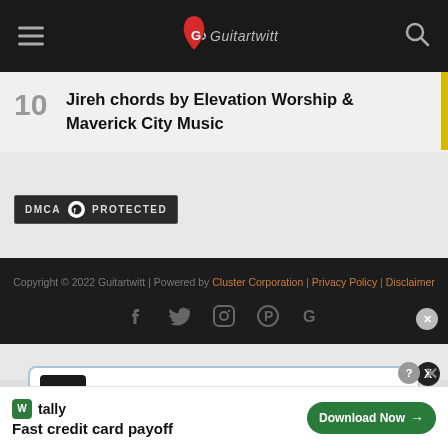Guitartwitt logo and navigation header
10 Jireh chords by Elevation Worship & Maverick City Music
[Figure (logo): DMCA Protected badge]
Copyright © 2022 Guitartwitt | Powered by Cluster Corporation | Privacy Policy | Disclaimer — with social icons for Facebook, Twitter, Instagram, Pinterest, Google
[Figure (screenshot): Get Down Like That popup notification card]
[Figure (infographic): Tally ad banner: Fast credit card payoff with Download Now button]